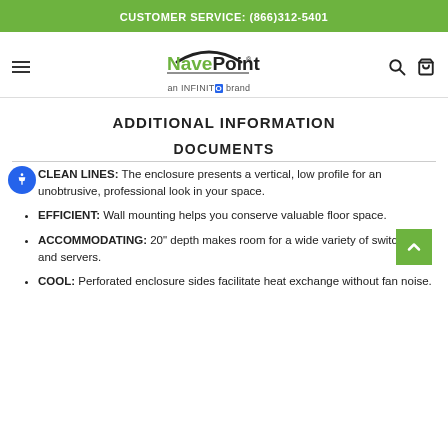CUSTOMER SERVICE: (866)312-5401
[Figure (logo): NavePoint logo with 'an INFINITO brand' tagline, hamburger menu, search and cart icons]
ADDITIONAL INFORMATION
DOCUMENTS
CLEAN LINES: The enclosure presents a vertical, low profile for an unobtrusive, professional look in your space.
EFFICIENT: Wall mounting helps you conserve valuable floor space.
ACCOMMODATING: 20" depth makes room for a wide variety of switches and servers.
COOL: Perforated enclosure sides facilitate heat exchange without fan noise.